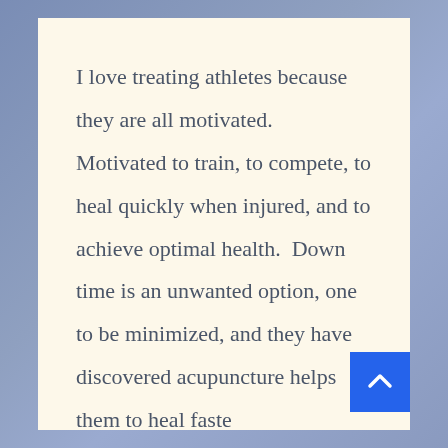|
I love treating athletes because they are all motivated. Motivated to train, to compete, to heal quickly when injured, and to achieve optimal health. Down time is an unwanted option, one to be minimized, and they have discovered acupuncture helps them to heal faste